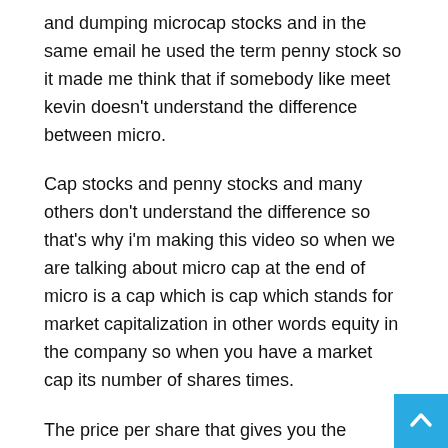and dumping microcap stocks and in the same email he used the term penny stock so it made me think that if somebody like meet kevin doesn't understand the difference between micro.
Cap stocks and penny stocks and many others don't understand the difference so that's why i'm making this video so when we are talking about micro cap at the end of micro is a cap which is cap which stands for market capitalization in other words equity in the company so when you have a market cap its number of shares times.
The price per share that gives you the market cap and and companies can be categorized in different market caps you have micro caps small caps mid caps large caps and different people might have different definitions exactly w exactly where the category ends and where the new one